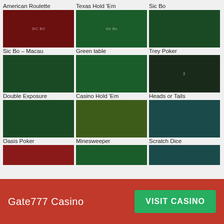American Roulette
[Figure (screenshot): American Roulette game screenshot - dark red casino table]
Texas Hold 'Em
[Figure (screenshot): Texas Hold Em / Sic Bo game screenshot - green casino table with Sic Bo branding]
Sic Bo
[Figure (screenshot): Sic Bo game screenshot - green table with cards]
Sic Bo – Macau
[Figure (screenshot): Sic Bo Macau game screenshot - green table with playing cards]
Green table
[Figure (screenshot): Green table game screenshot - green casino table with cards]
Trey Poker
[Figure (screenshot): Trey Poker game screenshot - dark background with bitcoin coin]
Double Exposure
[Figure (screenshot): Double Exposure game screenshot - green table with multiple card hands]
Casino Hold 'Em
[Figure (screenshot): Casino Hold Em game screenshot - 3D isometric view of grass field with coin-like pieces]
Heads or Tails
[Figure (screenshot): Heads or Tails game screenshot - dice game with red dice]
Oasis Poker
[Figure (screenshot): Oasis Poker partial screenshot - red casino table]
Minesweeper
[Figure (screenshot): Minesweeper partial screenshot]
Scratch Dice
[Figure (screenshot): Scratch Dice partial screenshot - teal background with dice]
Gate777 Casino
VISIT CASINO